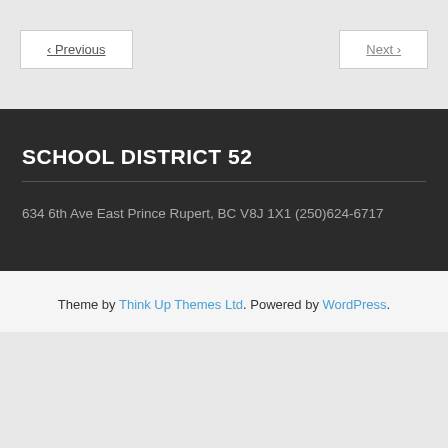< Previous
Next >
SCHOOL DISTRICT 52
634 6th Ave East Prince Rupert, BC V8J 1X1 (250)624-6717
Theme by Think Up Themes Ltd. Powered by WordPress.